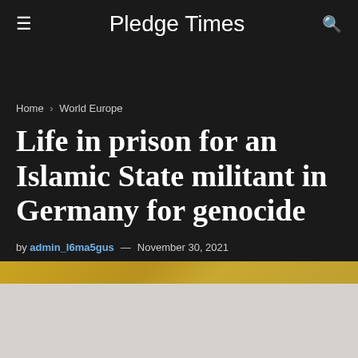Pledge Times
Home › World Europe
Life in prison for an Islamic State militant in Germany for genocide
by admin_l6ma5gus — November 30, 2021
[Figure (photo): Partial view of an image with golden/yellow tones at the bottom of the dark header section]